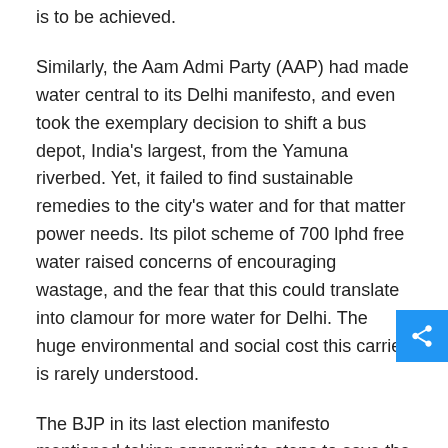is to be achieved.
Similarly, the Aam Admi Party (AAP) had made water central to its Delhi manifesto, and even took the exemplary decision to shift a bus depot, India's largest, from the Yamuna riverbed. Yet, it failed to find sustainable remedies to the city's water and for that matter power needs. Its pilot scheme of 700 lphd free water raised concerns of encouraging wastage, and the fear that this could translate into clamour for more water for Delhi. The huge environmental and social cost this carries is rarely understood.
The BJP in its last election manifesto mentioned taking appropriate steps to save the tiger and safeguard critical habitants of all wildlife – though how such a worthy promise will be married to its aggressive development agenda is a worry. The CPI(M) has taken a decisive step to review the industry-friendly environment impact assessment, but wildlife and biodiversity need a bout for the matter of fact...